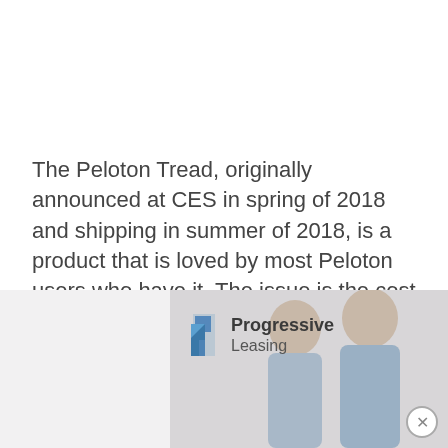The Peloton Tread, originally announced at CES in spring of 2018 and shipping in summer of 2018, is a product that is loved by most Peloton users who have it. The issue is the cost – retailing at $4,295, it is simply not affordable to most people who want it. The quality and feel of the Peloton Tread is comparable to the best in class Woodway Treadmills, however, being a high quality device doesn't help people who can't afford it.
[Figure (other): Progressive Leasing advertisement banner with logo and two smiling people]